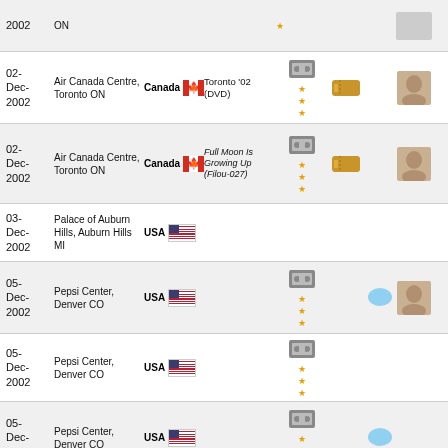| Date | Venue | Country | Release | Media | Ticket | Chat | Thumb |
| --- | --- | --- | --- | --- | --- | --- | --- |
| 2002 | ON |  |  |  |  |  |  |
| 02-Dec-2002 | Air Canada Centre, Toronto ON | Canada | Toronto '02 (DVD) | tape+stars | ticket |  | thumb |
| 02-Dec-2002 | Air Canada Centre, Toronto ON | Canada | Full Moon Is Growing Up (Filou-027) | tape+stars | ticket |  | thumb |
| 03-Dec-2002 | Palace of Auburn Hills, Auburn Hills MI | USA |  |  |  |  |  |
| 05-Dec-2002 | Pepsi Center, Denver CO | USA |  | tape+stars |  | chat | thumb |
| 05-Dec-2002 | Pepsi Center, Denver CO | USA |  | tape+stars |  |  |  |
| 05-Dec-2002 | Pepsi Center, Denver CO | USA |  | tape+stars |  | chat |  |
| 08-Dec-2002 | San Diego Sports Arena, San Diego CA | USA |  | tape+stars |  | chat | thumb |